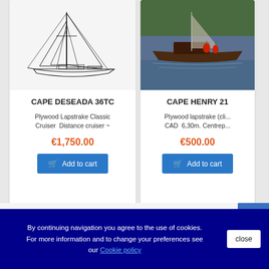[Figure (illustration): Line drawing / schematic of a sailboat (Cape Deseada 36TC) with masts, sails, rigging, hull shown in black and white]
CAPE DESEADA 36TC
Plywood Lapstrake Classic Cruiser  Distance cruiser ~
€1,750.00
Add to cart
[Figure (photo): Photo of Cape Henry 21 sailboat on water with two people aboard, green hillside in background]
CAPE HENRY 21
Plywood lapstrake (cli... CAD  6,30m. Centrep...
€500.00
Add to cart
Follow us on Facebook
By continuing navigation you agree to the use of cookies. For more information and to change your preferences see our Cookie policy
close